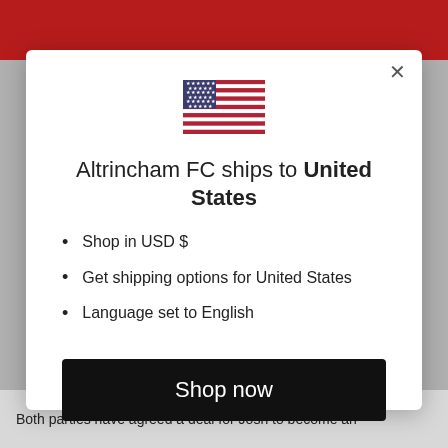[Figure (screenshot): A modal dialog popup on a website for Altrincham FC. The background shows a red top bar and grey body with partially visible website content. The modal is white with a US flag icon, title text, bullet list, a Shop now button, and a change link.]
Altrincham FC ships to United States
Shop in USD $
Get shipping options for United States
Language set to English
Shop now
Change shipping country and language
Both parties have agreed a deal for Josh to become an